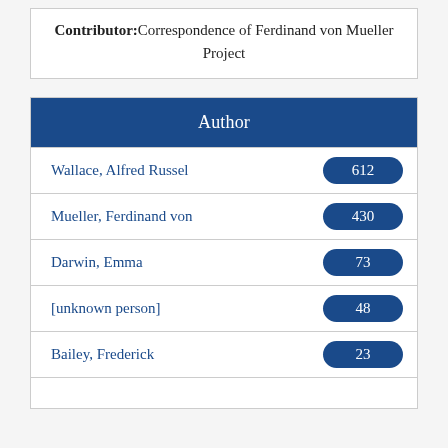Contributor: Correspondence of Ferdinand von Mueller Project
| Author |
| --- |
| Wallace, Alfred Russel | 612 |
| Mueller, Ferdinand von | 430 |
| Darwin, Emma | 73 |
| [unknown person] | 48 |
| Bailey, Frederick | 23 |